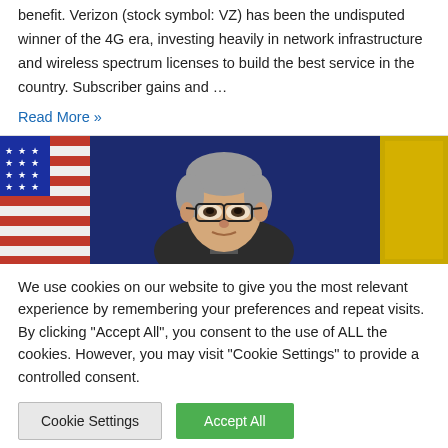benefit. Verizon (stock symbol: VZ) has been the undisputed winner of the 4G era, investing heavily in network infrastructure and wireless spectrum licenses to build the best service in the country. Subscriber gains and …
Read More »
[Figure (photo): A man with gray hair and glasses, photographed in front of American flags and a gold/yellow flag. Appears to be a formal press conference setting.]
We use cookies on our website to give you the most relevant experience by remembering your preferences and repeat visits. By clicking "Accept All", you consent to the use of ALL the cookies. However, you may visit "Cookie Settings" to provide a controlled consent.